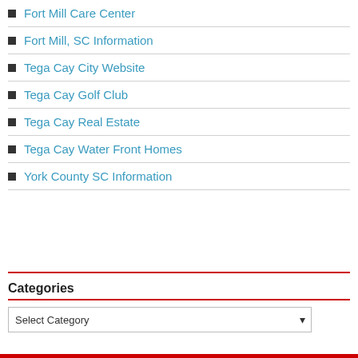Fort Mill Care Center
Fort Mill, SC Information
Tega Cay City Website
Tega Cay Golf Club
Tega Cay Real Estate
Tega Cay Water Front Homes
York County SC Information
Categories
Select Category